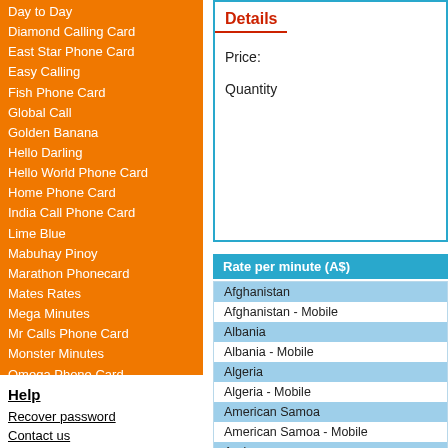Day to Day
Diamond Calling Card
East Star Phone Card
Easy Calling
Fish Phone Card
Global Call
Golden Banana
Hello Darling
Hello World Phone Card
Home Phone Card
India Call Phone Card
Lime Blue
Mabuhay Pinoy
Marathon Phonecard
Mates Rates
Mega Minutes
Mr Calls Phone Card
Monster Minutes
Omega Phone Card
Platinum Phonecard
Ring Me Calling Card
Sanuk Phone Card
Smile
Super Deal
White Phone Card
World Call Phonecard
Help
Recover password
Contact us
Details
Price:
Quantity
Rate per minute (A$)
| Destination |
| --- |
| Afghanistan |
| Afghanistan - Mobile |
| Albania |
| Albania - Mobile |
| Algeria |
| Algeria - Mobile |
| American Samoa |
| American Samoa - Mobile |
| Andorra |
| Andorra - Mobile |
| Angola |